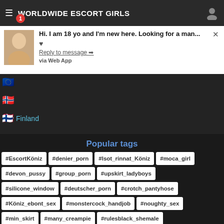WORLDWIDE ESCORT GIRLS
Hi. I am 18 yo and I'm new here. Looking for a man...
♥
Reply to message ➡
via Web App
Finland
Popular tags
#EscortKöniz
#denier_porn
#lsot_rinnat_Köniz
#moca_girl
#devon_pussy
#group_porn
#upskirt_ladyboys
#silicone_window
#deutscher_porn
#crotch_pantyhose
#Köniz_ebont_sex
#monstercock_handjob
#noughty_sex
#min_skirt
#many_creampie
#rulesblack_shemale
#juggworld_mature
#am_sex
#montreal_gangbang_Köniz
#asain_assholes
#picstoying_milf
#candace_von
#cin_girl